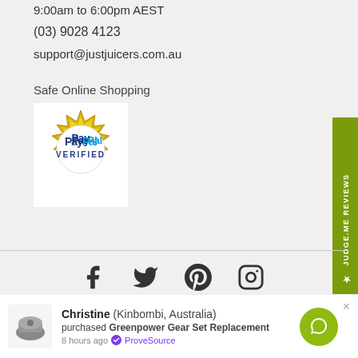9:00am to 6:00pm AEST
(03) 9028 4123
support@justjuicers.com.au
Safe Online Shopping
[Figure (logo): PayPal Verified gold seal badge]
[Figure (infographic): Side tab reading JUDGE.ME REVIEWS with star icon, olive green background]
[Figure (infographic): Social media icons: Facebook, Twitter, Pinterest, Instagram]
Christine (Kinbombi, Australia) purchased Greenpower Gear Set Replacement 8 hours ago ProveSource